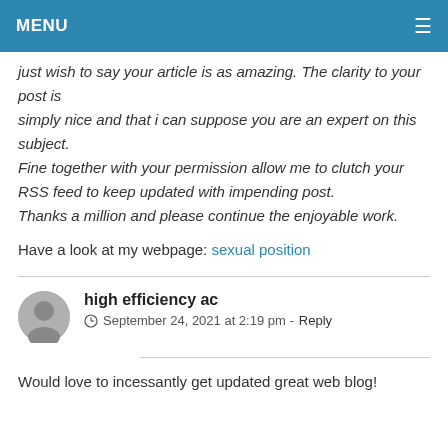MENU
just wish to say your article is as amazing. The clarity to your post is simply nice and that i can suppose you are an expert on this subject. Fine together with your permission allow me to clutch your RSS feed to keep updated with impending post. Thanks a million and please continue the enjoyable work.
Have a look at my webpage: sexual position
high efficiency ac
September 24, 2021 at 2:19 pm - Reply
Would love to incessantly get updated great web blog!